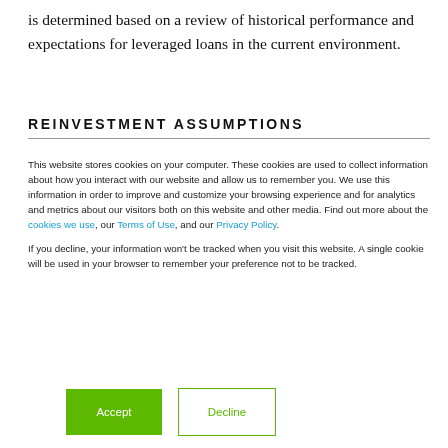is determined based on a review of historical performance and expectations for leveraged loans in the current environment.
REINVESTMENT ASSUMPTIONS
This website stores cookies on your computer. These cookies are used to collect information about how you interact with our website and allow us to remember you. We use this information in order to improve and customize your browsing experience and for analytics and metrics about our visitors both on this website and other media. Find out more about the cookies we use, our Terms of Use, and our Privacy Policy.
If you decline, your information won’t be tracked when you visit this website. A single cookie will be used in your browser to remember your preference not to be tracked.